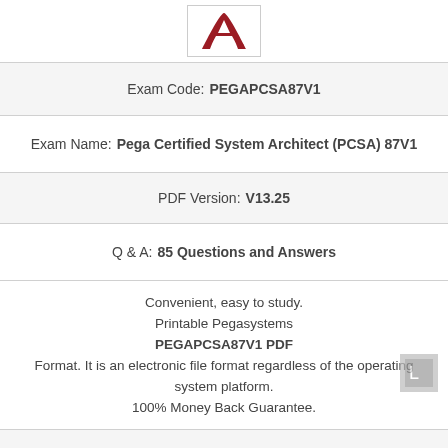[Figure (logo): Adobe PDF logo — red stylized A on white background with border]
Exam Code: PEGAPCSA87V1
Exam Name: Pega Certified System Architect (PCSA) 87V1
PDF Version: V13.25
Q & A: 85 Questions and Answers
Convenient, easy to study. Printable Pegasystems PEGAPCSA87V1 PDF Format. It is an electronic file format regardless of the operating system platform. 100% Money Back Guarantee.
PDF Price: $39.98
Free Demo